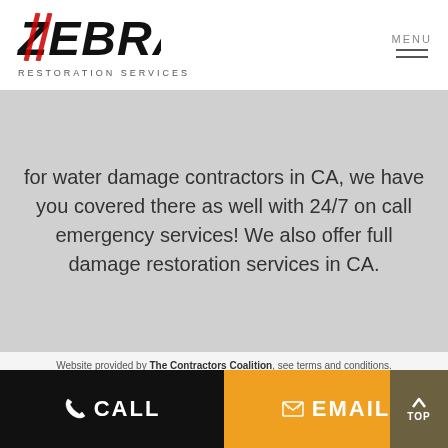[Figure (logo): Zebra Restoration Services logo with bold italic text and red stripe accent, plus 'RESTORATION SERVICES' subtitle]
for water damage contractors in CA, we have you covered there as well with 24/7 on call emergency services! We also offer full damage restoration services in CA.
Website provided by The Contractors Coalition, see terms and conditions. Danconia and The Contractors Coalition Logo and names are trademarks of Danconia. Copyright 2022
CALL
EMAIL
TOP